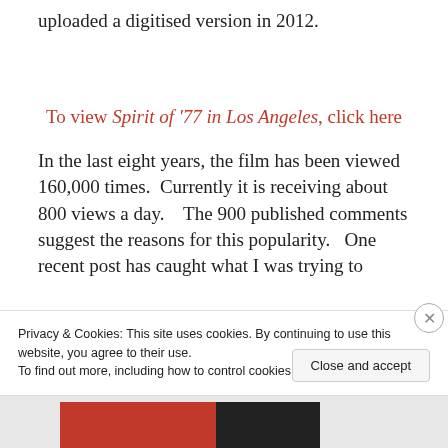uploaded a digitised version in 2012.
To view Spirit of '77 in Los Angeles, click here
In the last eight years, the film has been viewed 160,000 times.  Currently it is receiving about 800 views a day.   The 900 published comments suggest the reasons for this popularity.  One recent post has caught what I was trying to
Privacy & Cookies: This site uses cookies. By continuing to use this website, you agree to their use.
To find out more, including how to control cookies, see here: Cookie Policy